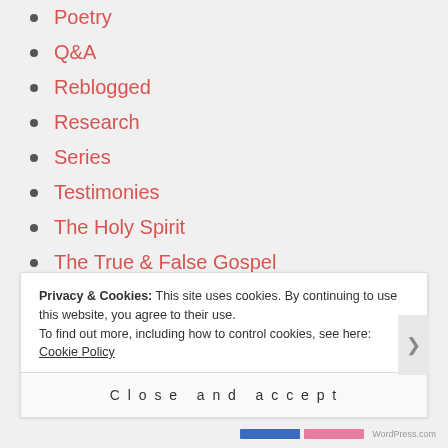Poetry
Q&A
Reblogged
Research
Series
Testimonies
The Holy Spirit
The True & False Gospel
TidBit
Uncategorized
Privacy & Cookies: This site uses cookies. By continuing to use this website, you agree to their use. To find out more, including how to control cookies, see here: Cookie Policy
Close and accept